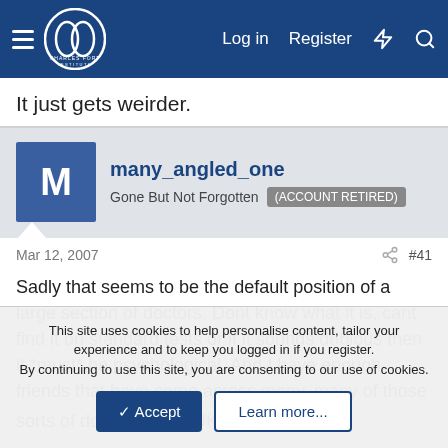Charles Fort Institute — Log in Register
It just gets weirder.
many_angled_one — Gone But Not Forgotten (ACCOUNT RETIRED)
Mar 12, 2007  #41
Sadly that seems to be the default position of a large section of doctors. Dont know what it is, cant find it on standard tests or if it sounds dubious then it *must* be psychological. And I have enough friends that have come across many, many of those sorts of doctors in the UK 😕
This site uses cookies to help personalise content, tailor your experience and to keep you logged in if you register. By continuing to use this site, you are consenting to our use of cookies.